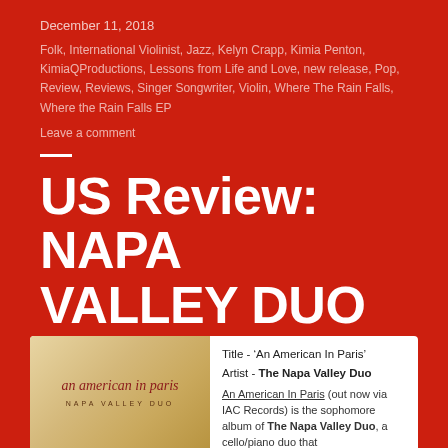December 11, 2018
Folk, International Violinist, Jazz, Kelyn Crapp, Kimia Penton, KimiaQProductions, Lessons from Life and Love, new release, Pop, Review, Reviews, Singer Songwriter, Violin, Where The Rain Falls, Where the Rain Falls EP
Leave a comment
US Review: NAPA VALLEY DUO “AN AMERICAN IN PARIS”
IDC News
[Figure (other): Album cover for 'An American in Paris' by Napa Valley Duo with script lettering on warm golden-brown background]
Title - ‘An American In Paris’
Artist - The Napa Valley Duo

An American In Paris (out now via IAC Records) is the sophomore album of The Napa Valley Duo, a cello/piano duo that